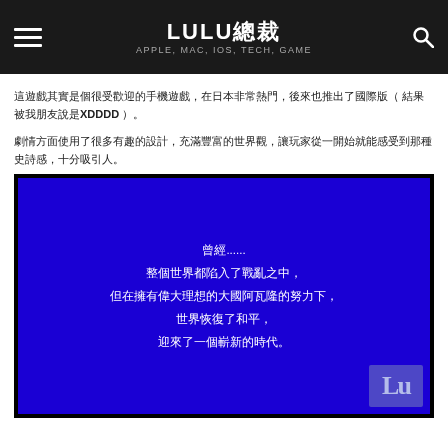LULU總裁 — APPLE, MAC, IOS, TECH, GAME
這遊戲其實是個很受歡迎的手機遊戲，在日本非常熱門，後來也推出了國際版（ 結果被我朋友說是XDDDD）。
劇情方面使用了很多有趣的設計，充滿豐富的世界觀，讓玩家從一開始就能感受到那種史詩感，十分吸引人。
[Figure (screenshot): Screenshot of a game intro screen with blue background and white Chinese text: 曾經......整個世界都陷入了戰亂之中，但在擁有偉大理想的大國阿瓦隆的努力下，世界恢復了和平，迎來了一個嶄新的時代。]